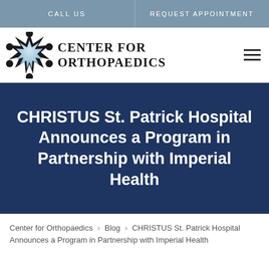CALL US   REQUEST APPOINTMENT
[Figure (logo): Center for Orthopaedics logo with star/snowflake emblem and text 'CENTER FOR ORTHOPAEDICS']
CHRISTUS St. Patrick Hospital Announces a Program in Partnership with Imperial Health
Center for Orthopaedics > Blog > CHRISTUS St. Patrick Hospital Announces a Program in Partnership with Imperial Health